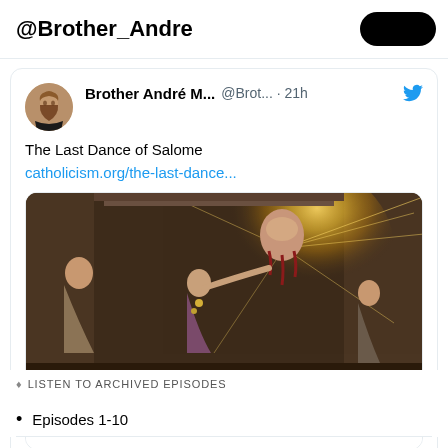@Brother_Andre
[Figure (screenshot): Tweet from Brother André M... @Brot... · 21h with Twitter bird icon. Text: 'The Last Dance of Salome' with link 'catholicism.org/the-last-dance...' followed by a link preview card showing a classical painting (Salome) with caption 'catholicism.org / The Last Dance of Salome'. Actions: reply 2, like 11.]
LISTEN TO ARCHIVED EPISODES
Episodes 1-10